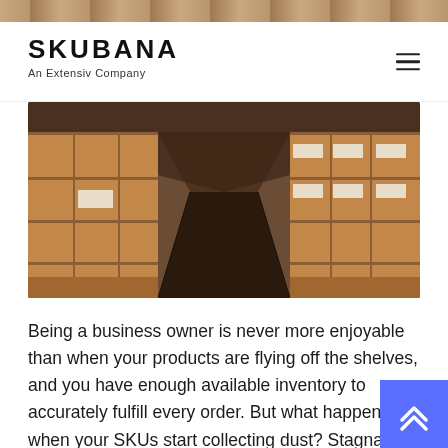[Figure (photo): Top strip of a warehouse photo showing stacked brown cardboard boxes]
SKUBANA
An Extensiv Company
[Figure (photo): Warehouse interior with tall stacks of brown cardboard boxes on both sides forming an aisle, perspective view]
Being a business owner is never more enjoyable than when your products are flying off the shelves, and you have enough available inventory to accurately fulfill every order. But what happens when your SKUs start collecting dust? Stagnant, excess inventory can cause serious issues, from mounting storage costs to diminished profit margins. And yet, the viable solution to avoid the traps of unmoved